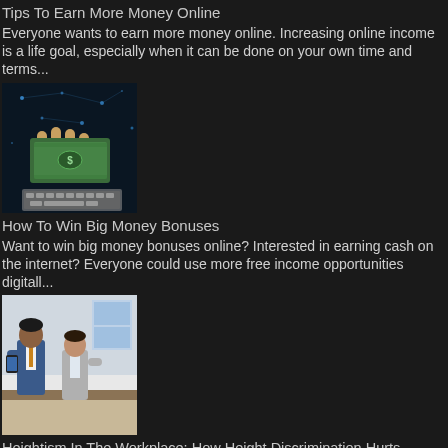Tips To Earn More Money Online
Everyone wants to earn more money online. Increasing online income is a life goal, especially when it can be done on your own time and terms...
[Figure (photo): Hand holding money with digital/tech background]
How To Win Big Money Bonuses
Want to win big money bonuses online? Interested in earning cash on the internet? Everyone could use more free income opportunities digitall...
[Figure (photo): Two men in business attire standing in an office]
Heightism In The Workplace: How Height Discrimination Hurts Careers
Heightism At Work: How Height Discrimination & Height Shaming Creates  Shorter Career Opportunities, Lower Paychecks, Smaller Salaries...
[Figure (illustration): VPS cloud computing logo/illustration]